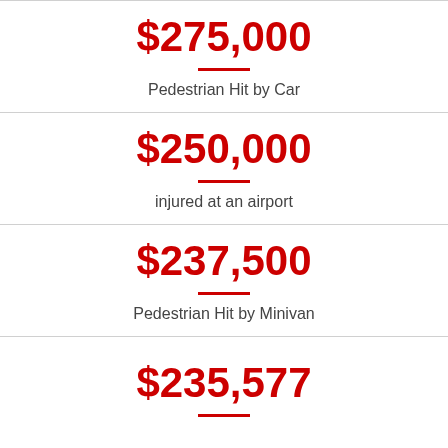$275,000
Pedestrian Hit by Car
$250,000
injured at an airport
$237,500
Pedestrian Hit by Minivan
$235,577